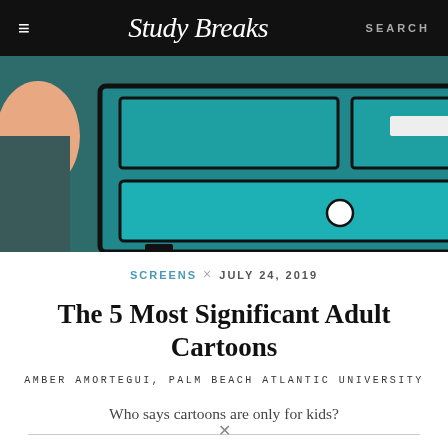Study Breaks — SEARCH
[Figure (illustration): Cartoon illustration of a teal/green dresser with drawers, on a dark teal background, with a peach/skin-toned figure partially visible on the left side.]
SCREENS × JULY 24, 2019
The 5 Most Significant Adult Cartoons
AMBER AMORTEGUI, PALM BEACH ATLANTIC UNIVERSITY
Who says cartoons are only for kids?